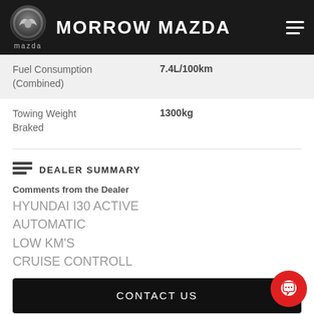MORROW MAZDA
| Specification | Value |
| --- | --- |
| Fuel Consumption (Combined) | 7.4L/100km |
| Towing Weight Braked | 1300kg |
DEALER SUMMARY
Comments from the Dealer
HYUNDAI I30 ACTIVE
AUTOMATIC
LOW KM'S
CRUISE CONTROLL
CONTACT US
FINANCE THIS VEHICLE